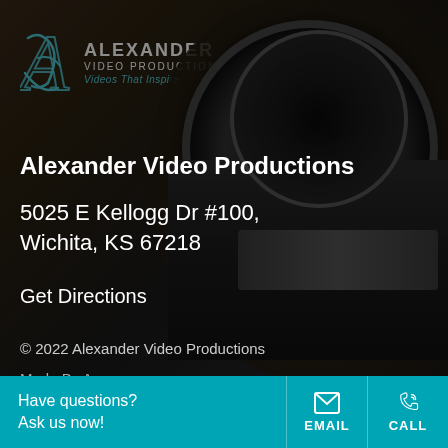[Figure (logo): Alexander Video Productions logo with stylized A icon, text 'ALEXANDER VIDEO PRODUCTIONS' and tagline 'Videos That Inspire']
Alexander Video Productions
5025 E Kellogg Dr #100,
Wichita, KS 67218
Get Directions
© 2022 Alexander Video Productions
Made By Aura
Have questions? Ask us now! EMAIL CALL